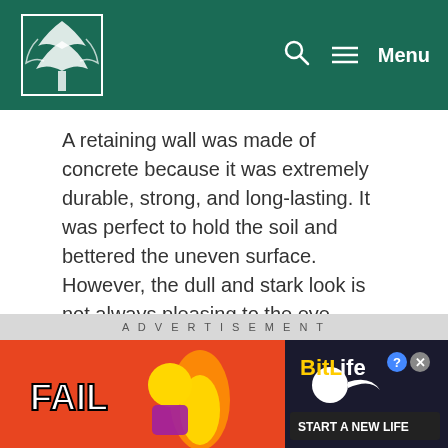[Logo] Menu
A retaining wall was made of concrete because it was extremely durable, strong, and long-lasting. It was perfect to hold the soil and bettered the uneven surface. However, the dull and stark look is not always pleasing to the eye.
To overcome this problem, you can try using other materials to execute some retaining wall ideas, one of which is flagstone.
[Figure (screenshot): ADVERTISEMENT banner with BitLife game ad showing FAIL text, cartoon character, flames, and START A NEW LIFE text]